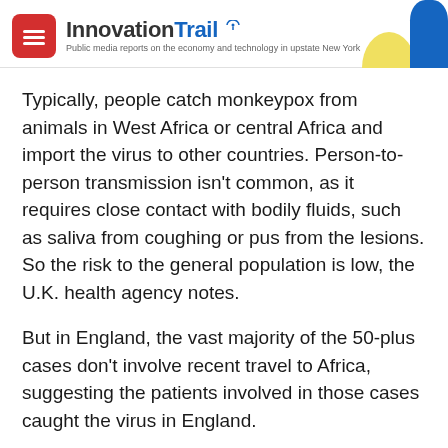InnovationTrail — Public media reports on the economy and technology in upstate New York
Typically, people catch monkeypox from animals in West Africa or central Africa and import the virus to other countries. Person-to-person transmission isn't common, as it requires close contact with bodily fluids, such as saliva from coughing or pus from the lesions. So the risk to the general population is low, the U.K. health agency notes.
But in England, the vast majority of the 50-plus cases don't involve recent travel to Africa, suggesting the patients involved in those cases caught the virus in England.
"Presumably this is cryptic spread from an